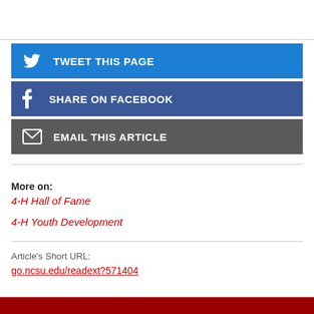TWEET THIS PAGE
SHARE ON FACEBOOK
EMAIL THIS ARTICLE
More on:
4-H Hall of Fame
4-H Youth Development
Article's Short URL:
go.ncsu.edu/readext?571404